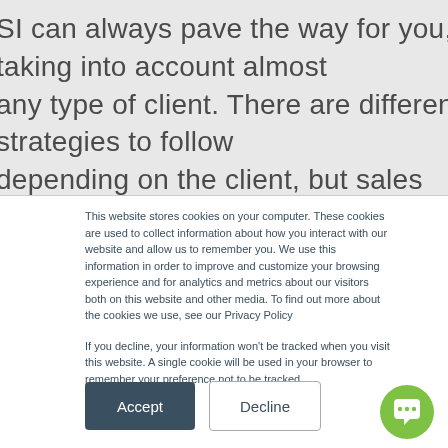SI can always pave the way for you, taking into account almost any type of client. There are different strategies to follow depending on the client, but sales strategies that work for an existing client may not be convincing enough to convert a new
This website stores cookies on your computer. These cookies are used to collect information about how you interact with our website and allow us to remember you. We use this information in order to improve and customize your browsing experience and for analytics and metrics about our visitors both on this website and other media. To find out more about the cookies we use, see our Privacy Policy
If you decline, your information won't be tracked when you visit this website. A single cookie will be used in your browser to remember your preference not to be tracked.
Accept
Decline